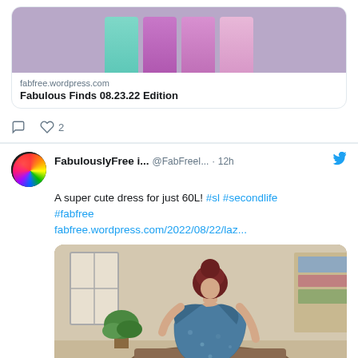[Figure (screenshot): Twitter/social media feed showing two tweets from FabulouslyFree account. First tweet (partial) shows a link preview card for 'Fabulous Finds 08.23.22 Edition' on fabfree.wordpress.com with an image of colorful pants, and 2 likes. Second tweet shows profile avatar with rainbow gradient, display name 'FabulouslyFree i...', handle '@FabFreeI...', posted 12h ago, text 'A super cute dress for just 60L! #sl #secondlife #fabfree fabfree.wordpress.com/2022/08/22/laz...' with an image of a 3D avatar in a blue floral dress.]